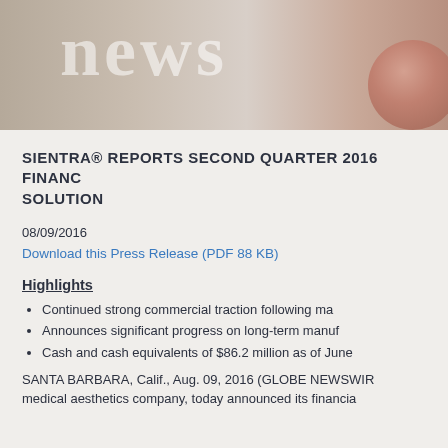[Figure (photo): Banner image showing partial text 'NEWS' in large serif font with a blurred background and partial face/head visible at right edge]
SIENTRA® REPORTS SECOND QUARTER 2016 FINANCIAL RESULTS AND MANUFACTURING SOLUTION
08/09/2016
Download this Press Release (PDF 88 KB)
Highlights
Continued strong commercial traction following ma...
Announces significant progress on long-term manuf...
Cash and cash equivalents of $86.2 million as of June...
SANTA BARBARA, Calif., Aug. 09, 2016 (GLOBE NEWSWIRE) — medical aesthetics company, today announced its financial...